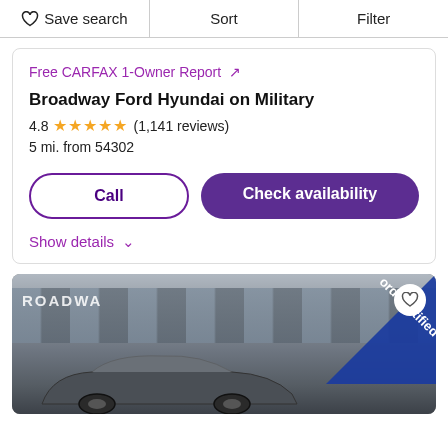Save search | Sort | Filter
Free CARFAX 1-Owner Report ↗
Broadway Ford Hyundai on Military
4.8 ★★★★★ (1,141 reviews)
5 mi. from 54302
Call | Check availability
Show details ∨
[Figure (photo): Exterior photo of Broadway Ford Hyundai dealership building with a dark car in the foreground and a blue 'Ford Certified' ribbon banner in the upper right corner and a heart/save icon button.]